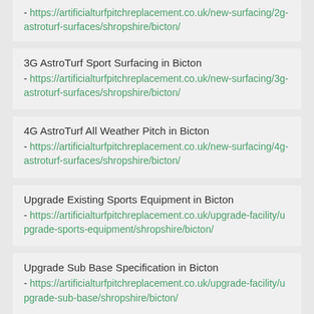- https://artificialturfpitchreplacement.co.uk/new-surfacing/2g-astroturf-surfaces/shropshire/bicton/
3G AstroTurf Sport Surfacing in Bicton - https://artificialturfpitchreplacement.co.uk/new-surfacing/3g-astroturf-surfaces/shropshire/bicton/
4G AstroTurf All Weather Pitch in Bicton - https://artificialturfpitchreplacement.co.uk/new-surfacing/4g-astroturf-surfaces/shropshire/bicton/
Upgrade Existing Sports Equipment in Bicton - https://artificialturfpitchreplacement.co.uk/upgrade-facility/upgrade-sports-equipment/shropshire/bicton/
Upgrade Sub Base Specification in Bicton - https://artificialturfpitchreplacement.co.uk/upgrade-facility/upgrade-sub-base/shropshire/bicton/